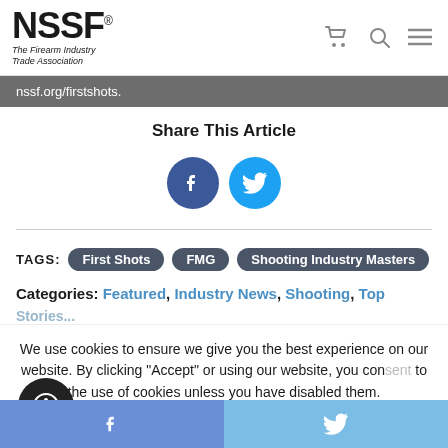[Figure (logo): NSSF - The Firearm Industry Trade Association logo]
nssf.org/firstshots.
Share This Article
[Figure (infographic): Facebook and Twitter share buttons (circular icons)]
TAGS: First Shots FMG Shooting Industry Masters
Categories: Featured, Industry News, Shooting, Top Stories...
We use cookies to ensure we give you the best experience on our website. By clicking "Accept" or using our website, you consent to the use of cookies unless you have disabled them.
[Figure (infographic): Bottom share bar with Facebook and Twitter icons]